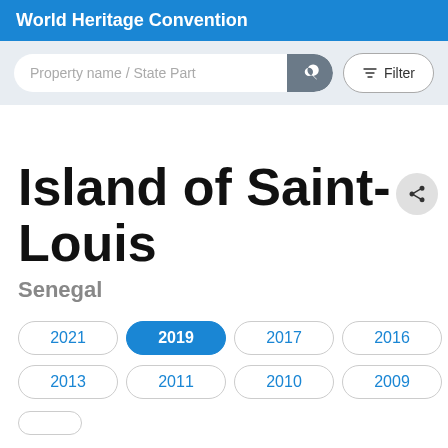World Heritage Convention
Island of Saint-Louis
Senegal
2021
2019
2017
2016
2014
2013
2011
2010
2009
2008